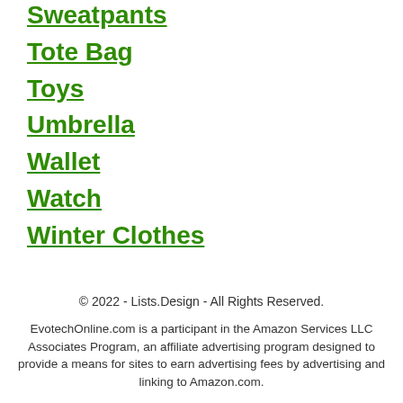Sweatpants
Tote Bag
Toys
Umbrella
Wallet
Watch
Winter Clothes
© 2022 - Lists.Design - All Rights Reserved.
EvotechOnline.com is a participant in the Amazon Services LLC Associates Program, an affiliate advertising program designed to provide a means for sites to earn advertising fees by advertising and linking to Amazon.com.